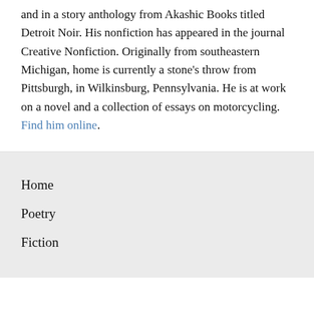and in a story anthology from Akashic Books titled Detroit Noir. His nonfiction has appeared in the journal Creative Nonfiction. Originally from southeastern Michigan, home is currently a stone's throw from Pittsburgh, in Wilkinsburg, Pennsylvania. He is at work on a novel and a collection of essays on motorcycling. Find him online.
Home
Poetry
Fiction